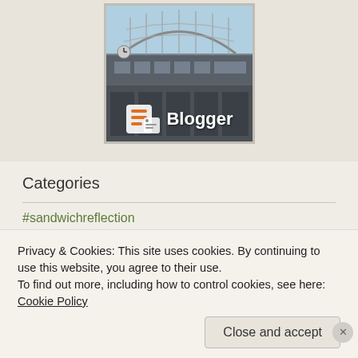[Figure (photo): Blogger logo with icon overlaid on a photo of a large arched glass and steel building (train station). White Blogger icon and bold white 'Blogger' text visible at bottom.]
Categories
#sandwichreflection
business English
EAP
Privacy & Cookies: This site uses cookies. By continuing to use this website, you agree to their use.
To find out more, including how to control cookies, see here: Cookie Policy
Close and accept